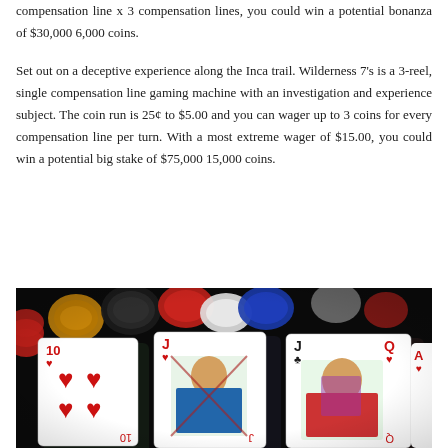compensation line x 3 compensation lines, you could win a potential bonanza of $30,000 6,000 coins.
Set out on a deceptive experience along the Inca trail. Wilderness 7's is a 3-reel, single compensation line gaming machine with an investigation and experience subject. The coin run is 25¢ to $5.00 and you can wager up to 3 coins for every compensation line per turn. With a most extreme wager of $15.00, you could win a potential big stake of $75,000 15,000 coins.
[Figure (photo): Close-up photo of playing cards (10 of hearts, Jack of hearts, Jack of clubs, Queen of hearts) spread on a dark surface with colorful poker chips (red, black, blue, white, brown, orange) blurred in the background.]